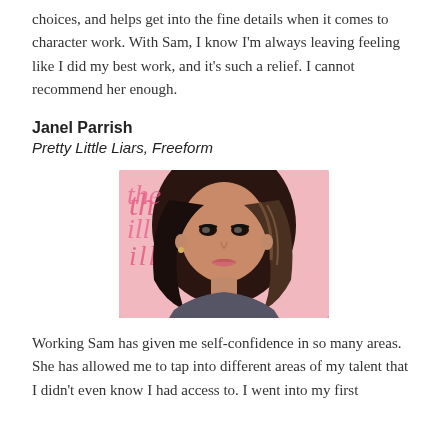choices, and helps get into the fine details when it comes to character work. With Sam, I know I'm always leaving feeling like I did my best work, and it's such a relief. I cannot recommend her enough.
Janel Parrish
Pretty Little Liars, Freeform
[Figure (photo): Headshot photo of Janel Parrish at an event, with pink background text visible behind her.]
Working Sam has given me self-confidence in so many areas. She has allowed me to tap into different areas of my talent that I didn't even know I had access to. I went into my first